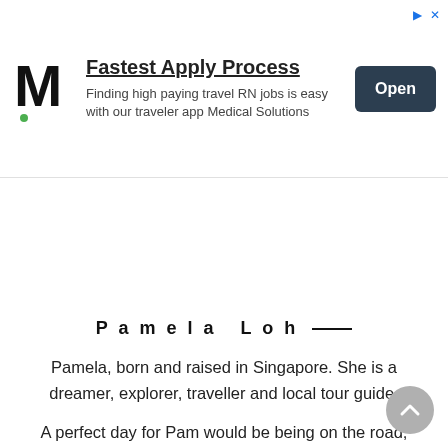[Figure (screenshot): Advertisement banner for Medical Solutions showing stylized M logo, 'Fastest Apply Process' headline, subtext about travel RN jobs, and an 'Open' button]
[Figure (photo): Circular profile photo of Pamela Loh with pink border, showing a woman in a green jacket]
Pamela Loh ————
Pamela, born and raised in Singapore. She is a dreamer, explorer, traveller and local tour guide.
A perfect day for Pam would be being on the road, having beers and endless of great conversations that shape a wider perspective.